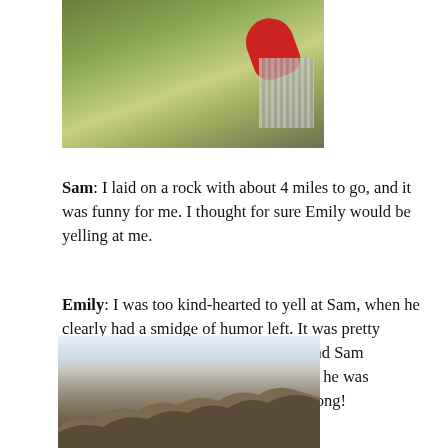[Figure (photo): Person wearing a green fleece jacket with a red item (possibly a bag or jacket) visible, outdoors setting with rocky ground in background.]
Sam: I laid on a rock with about 4 miles to go, and it was funny for me. I thought for sure Emily would be yelling at me.
Emily: I was too kind-hearted to yell at Sam, when he clearly had a smidge of humor left. It was pretty funny to come around that corner to find Sam hamming it up on a huge flat rock, like he was sleeping. As if I would let that fly for long!
[Figure (photo): Rocky outcrop or stone wall with sky in background, outdoor landscape photo.]